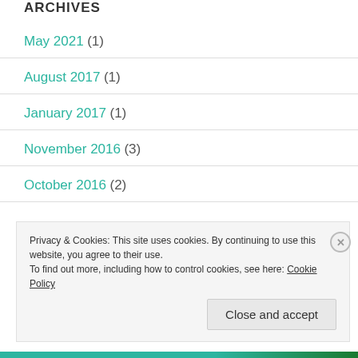ARCHIVES
May 2021 (1)
August 2017 (1)
January 2017 (1)
November 2016 (3)
October 2016 (2)
Privacy & Cookies: This site uses cookies. By continuing to use this website, you agree to their use. To find out more, including how to control cookies, see here: Cookie Policy
Close and accept